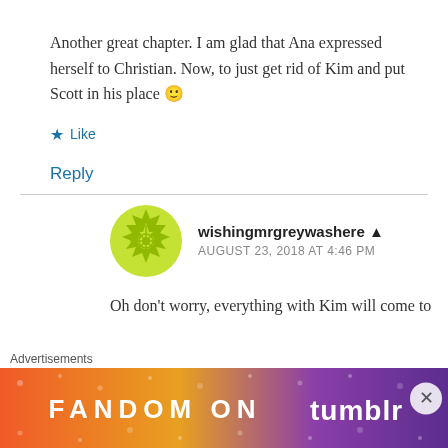Another great chapter. I am glad that Ana expressed herself to Christian. Now, to just get rid of Kim and put Scott in his place 🙂
★ Like
Reply
wishingmrgreywashere 👤
AUGUST 23, 2018 AT 4:46 PM
Oh don't worry, everything with Kim will come to
Advertisements
[Figure (screenshot): Fandom on Tumblr advertisement banner with colorful gradient background]